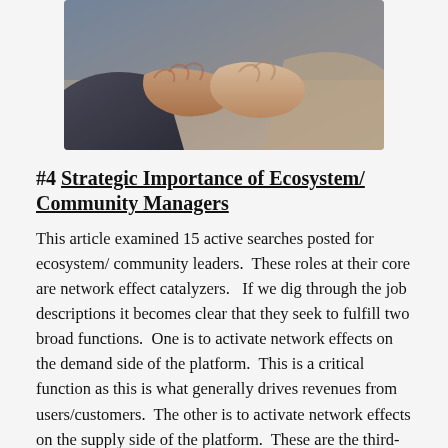[Figure (photo): Two people shaking hands, close-up view showing clasped hands in foreground]
#4 Strategic Importance of Ecosystem/ Community Managers
This article examined 15 active searches posted for ecosystem/ community leaders.  These roles at their core are network effect catalyzers.   If we dig through the job descriptions it becomes clear that they seek to fulfill two broad functions.  One is to activate network effects on the demand side of the platform.  This is a critical function as this is what generally drives revenues from users/customers.  The other is to activate network effects on the supply side of the platform.  These are the third-party complements that provide the content or functionality of the platform.